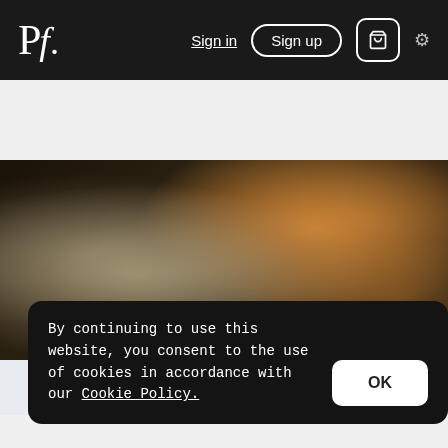Pf. | Sign in | Sign up | cart | settings
[Figure (photo): Close-up photo of a vintage motorcycle or car engine with chrome parts and orange detail in background. License plate reads GN 4803. Credit: by Happy Hotelier.]
$37.69 E
By continuing to use this website, you consent to the use of cookies in accordance with our Cookie Policy.
OK